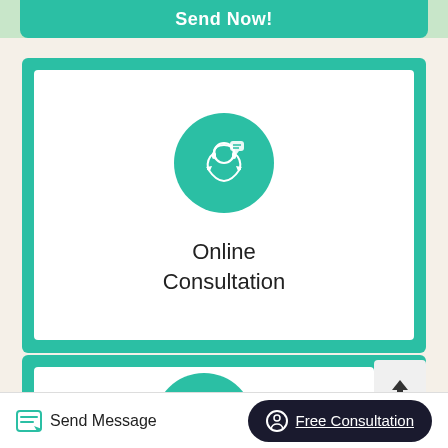Send Now!
[Figure (illustration): Online Consultation icon: person with headset and chat bubbles in a circular white icon on teal background circle]
Online
Consultation
[Figure (illustration): 60s Rapid icon: person running/leaping over growth chart arrow in white icon on teal background circle]
60s Rapid
[Figure (illustration): Upload arrow icon button on light gray rounded square button]
Send Message
Free Consultation